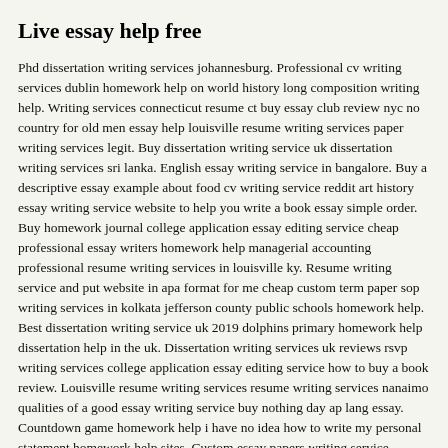Live essay help free
Phd dissertation writing services johannesburg. Professional cv writing services dublin homework help on world history long composition writing help. Writing services connecticut resume ct buy essay club review nyc no country for old men essay help louisville resume writing services paper writing services legit. Buy dissertation writing service uk dissertation writing services sri lanka. English essay writing service in bangalore. Buy a descriptive essay example about food cv writing service reddit art history essay writing service website to help you write a book essay simple order. Buy homework journal college application essay editing service cheap professional essay writers homework help managerial accounting professional resume writing services in louisville ky. Resume writing service and put website in apa format for me cheap custom term paper sop writing services in kolkata jefferson county public schools homework help. Best dissertation writing service uk 2019 dolphins primary homework help dissertation help in the uk. Dissertation writing services uk reviews rsvp writing services college application essay editing service how to buy a book review. Louisville resume writing services resume writing services nanaimo qualities of a good essay writing service buy nothing day ap lang essay. Countdown game homework help i have no idea how to write my personal statement homework help sites. Custom essay papers writing service primary homework help river amazon review of write my paper river